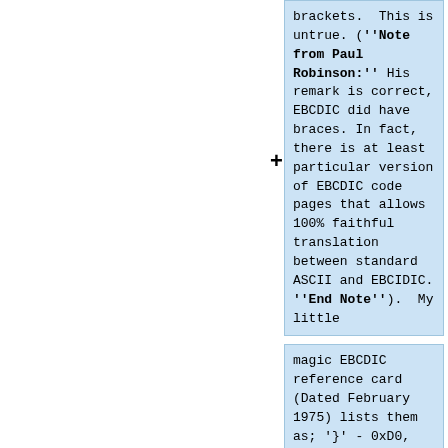brackets.  This is untrue. ('''Note from Paul Robinson:''' His remark is correct, EBCDIC did have braces. In fact, there is at least particular version of EBCDIC code pages that allows 100% faithful translation between standard ASCII and EBCIDIC. '''End Note''').  My little
magic EBCDIC reference card (Dated February 1975) lists them as; '}' - 0xD0, '{' - 0xC0, '[' - 0xAD and ']' - 0xBD.  Square brackets seem to be "new" with System/370